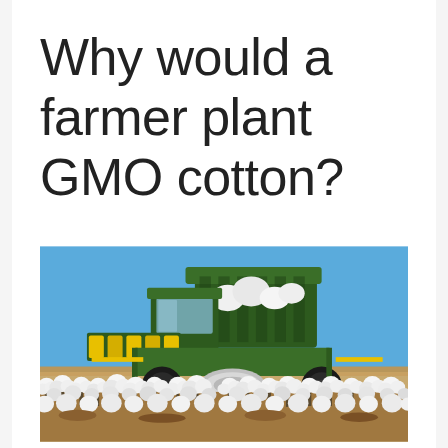Why would a farmer plant GMO cotton?
[Figure (photo): A green John Deere cotton harvester/picker machine operating in a cotton field with white cotton bolls in the foreground and a clear blue sky in the background.]